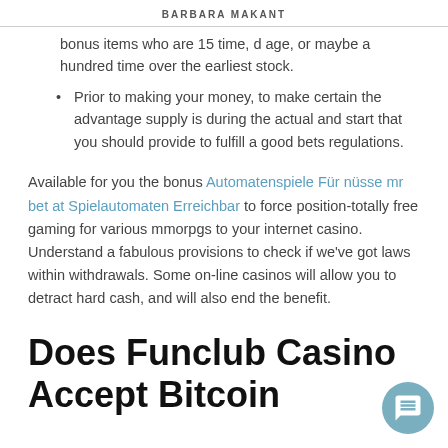BARBARA MAKANT
...bonus items who are 15 time, d age, or maybe a hundred time over the earliest stock.
Prior to making your money, to make certain the advantage supply is during the actual and start that you should provide to fulfill a good bets regulations.
Available for you the bonus Automatenspiele Für nüsse mr bet at Spielautomaten Erreichbar to force position-totally free gaming for various mmorpgs to your internet casino. Understand a fabulous provisions to check if we've got laws within withdrawals. Some on-line casinos will allow you to detract hard cash, and will also end the benefit.
Does Funclub Casino Accept Bitcoin